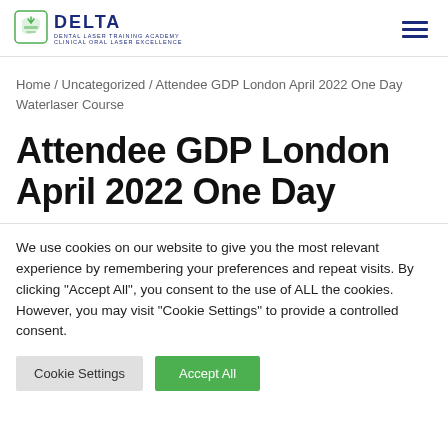DELTA DENTAL LASER TRAINING ACADEMY CLINICAL ORAL LASER EXCELLENCE
Home / Uncategorized / Attendee GDP London April 2022 One Day Waterlaser Course
Attendee GDP London April 2022 One Day
We use cookies on our website to give you the most relevant experience by remembering your preferences and repeat visits. By clicking "Accept All", you consent to the use of ALL the cookies. However, you may visit "Cookie Settings" to provide a controlled consent.
Cookie Settings | Accept All